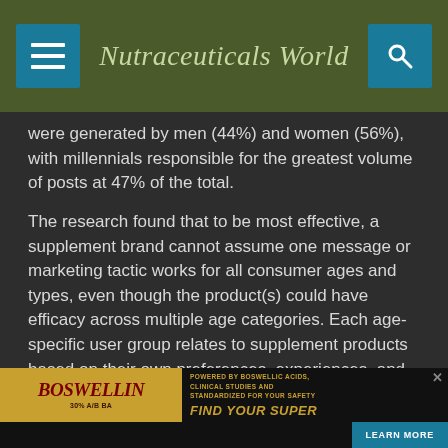Nutraceuticals World
were generated by men (44%) and women (56%), with millennials responsible for the greatest volume of posts at 47% of the total.
The research found that to be most effective, a supplement brand cannot assume one message or marketing tactic works for all consumer ages and types, even though the product(s) could have efficacy across multiple age categories. Each age-specific user group relates to supplement products based on their own preferences, experiences, and interests.
“Consumers in all age groups are fueling the growth of the supplement industry, which is expected to be a $278 billion global market by 2024,” said by Colmar, CEO...
[Figure (advertisement): Boswellin advertisement banner at the bottom of the page with text 'POWERED BY BOSWELLIC ACIDS, CLINICAL STUDIES AND STANDARDIZED FOR YOUR SAFETY' and 'FIND YOUR SUPER' with a LEARN MORE button]